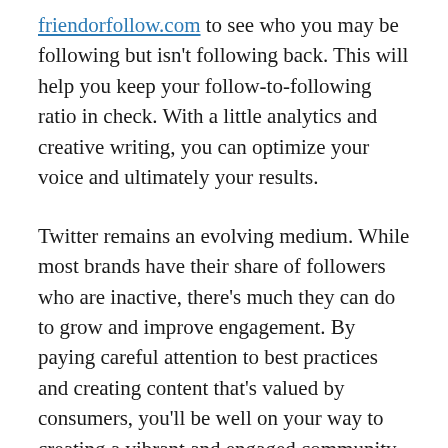friendorfollow.com to see who you may be following but isn't following back. This will help you keep your follow-to-following ratio in check. With a little analytics and creative writing, you can optimize your voice and ultimately your results.
Twitter remains an evolving medium. While most brands have their share of followers who are inactive, there's much they can do to grow and improve engagement. By paying careful attention to best practices and creating content that's valued by consumers, you'll be well on your way to creating a vibrant and engaged community of brand advocates.